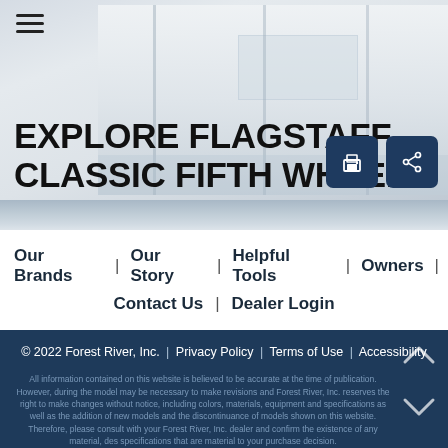EXPLORE FLAGSTAFF CLASSIC FIFTH WHEELS
[Figure (screenshot): RV interior background image with print and share action buttons]
Our Brands  |  Our Story  |  Helpful Tools  |  Owners  |  Contact Us  |  Dealer Login
© 2022 Forest River, Inc.  |  Privacy Policy  |  Terms of Use  |  Accessibility
All information contained on this website is believed to be accurate at the time of publication. However, during the model may be necessary to make revisions and Forest River, Inc. reserves the right to make changes without notice, including colors, materials, equipment and specifications as well as the addition of new models and the discontinuance of models shown on this website. Therefore, please consult with your Forest River, Inc. dealer and confirm the existence of any material, des specifications that are material to your purchase decision.